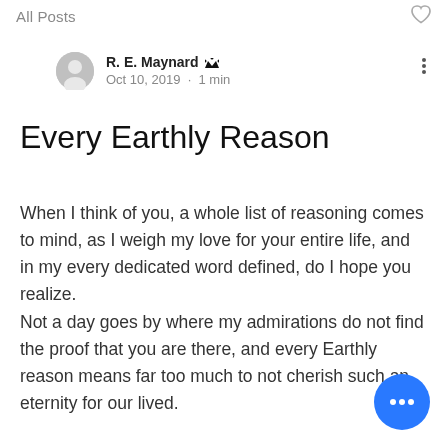All Posts
R. E. Maynard
Oct 10, 2019 · 1 min
Every Earthly Reason
When I think of you, a whole list of reasoning comes to mind, as I weigh my love for your entire life, and in my every dedicated word defined, do I hope you realize.
Not a day goes by where my admirations do not find the proof that you are there, and every Earthly reason means far too much to not cherish such an eternity for our lived.